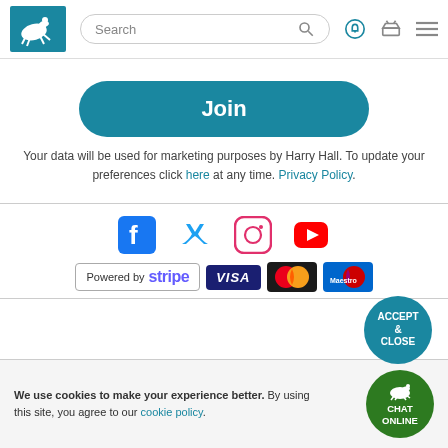[Figure (logo): Harry Hall equestrian logo — white horse and rider jumping on teal/blue background]
[Figure (screenshot): Search bar with magnifying glass icon]
[Figure (screenshot): Header icons: bell, shopping basket, hamburger menu]
[Figure (illustration): Join button — teal pill-shaped button with white bold text 'Join']
Your data will be used for marketing purposes by Harry Hall. To update your preferences click here at any time. Privacy Policy.
[Figure (infographic): Social media icons row: Facebook, Twitter, Instagram, YouTube]
[Figure (infographic): Payment method logos: Powered by Stripe, Visa, Mastercard, Maestro]
We use cookies to make your experience better. By using this site, you agree to our cookie policy.
[Figure (illustration): Accept & Close button — teal circle with white text]
[Figure (illustration): Chat Online button — green circle with white horse/rider icon and text]